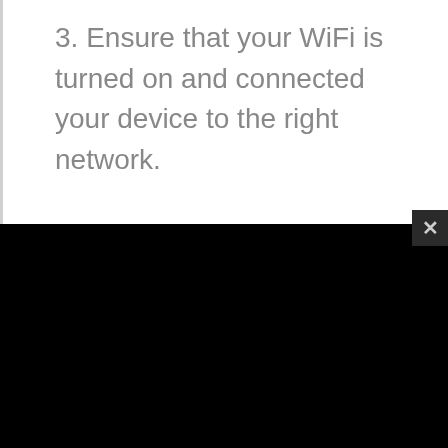3. Ensure that your WiFi is turned on and connected your device to the right network.
[Figure (screenshot): Black rectangular area representing a video or screen display region, with a small close (X) button in the upper-right corner]